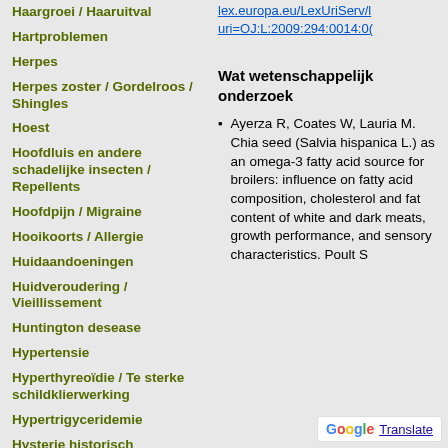Haargroei / Haaruitval
Hartproblemen
Herpes
Herpes zoster / Gordelroos / Shingles
Hoest
Hoofdluis en andere schadelijke insecten / Repellents
Hoofdpijn / Migraine
Hooikoorts / Allergie
Huidaandoeningen
Huidveroudering / Vieillissement
Huntington desease
Hypertensie
Hyperthyreoïdie / Te sterke schildklierwerking
Hypertrigyceridemie
Hysterie historisch
lex.europa.eu/LexUriServ/l uri=OJ:L:2009:294:0014:0(
Wat wetenschappelijk onderzoek
Ayerza R, Coates W, Lauria M. Chia seed (Salvia hispanica L.) as an omega-3 fatty acid source for broilers: influence on fatty acid composition, cholesterol and fat content of white and dark meats, growth performance, and sensory characteristics. Poult S